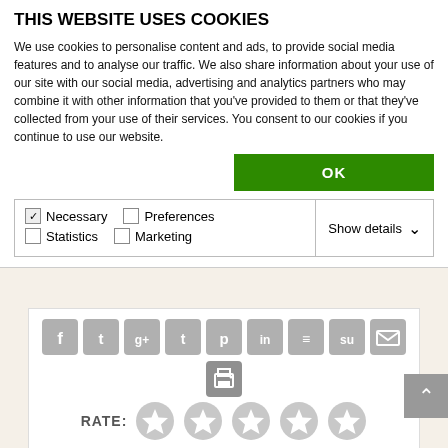THIS WEBSITE USES COOKIES
We use cookies to personalise content and ads, to provide social media features and to analyse our traffic. We also share information about your use of our site with our social media, advertising and analytics partners who may combine it with other information that you've provided to them or that they've collected from your use of their services. You consent to our cookies if you continue to use our website.
[Figure (screenshot): Cookie consent dialog with OK button, checkboxes for Necessary (checked), Preferences, Statistics, Marketing, and Show details dropdown]
[Figure (infographic): Social media sharing icons: facebook, twitter, google+, tumblr, pinterest, linkedin, buffer, stumbleupon, email, and a print icon]
RATE:
[Figure (infographic): Five grey star rating icons]
< PREVIOUS
NEXT >